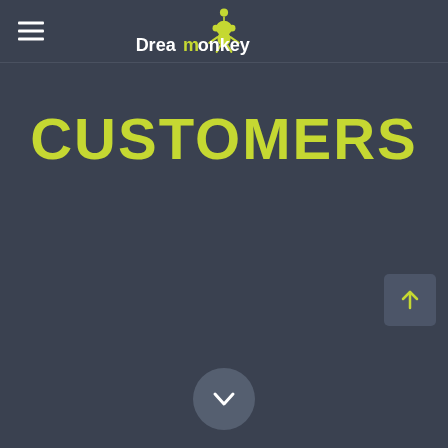Dreamonkey
CUSTOMERS
[Figure (other): Scroll up arrow button in upper right corner]
[Figure (other): Scroll down chevron button at bottom center]